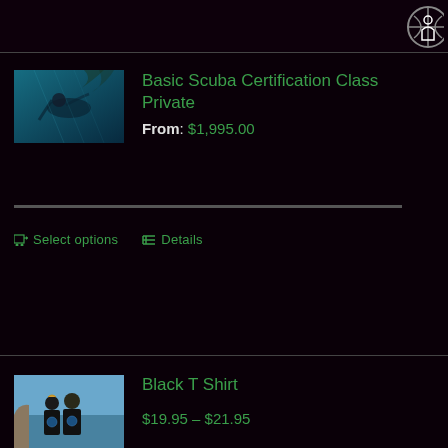[Figure (photo): Partial circular logo/icon in top right corner, white outlines on dark background]
[Figure (photo): Underwater scuba diving photo with blue water and diver silhouette]
Basic Scuba Certification Class Private
From: $1,995.00
Select options   Details
[Figure (photo): Two people wearing black t-shirts outdoors near ocean]
Black T Shirt
$19.95 – $21.95